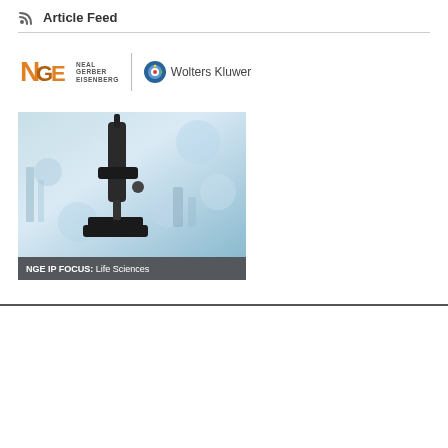Article Feed
[Figure (logo): Neal Gerber Eisenberg logo and Wolters Kluwer logo side by side with vertical divider]
[Figure (photo): Laboratory microscope photo with caption bar 'NGE IP FOCUS: Life Sciences']
[Figure (logo): Wolters Kluwer logo large]
ABOUT US
RELATED SITES
Kluwer Law Online
Kluwer
Competition Law